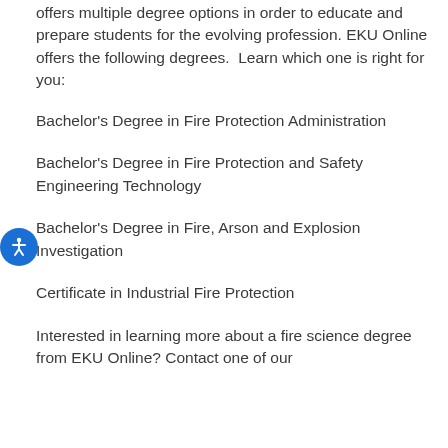offers multiple degree options in order to educate and prepare students for the evolving profession. EKU Online offers the following degrees.  Learn which one is right for you:
Bachelor's Degree in Fire Protection Administration
Bachelor's Degree in Fire Protection and Safety Engineering Technology
Bachelor's Degree in Fire, Arson and Explosion Investigation
Certificate in Industrial Fire Protection
Interested in learning more about a fire science degree from EKU Online? Contact one of our